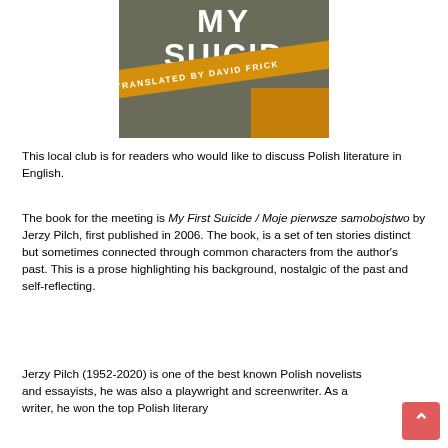[Figure (illustration): Book cover of 'My First Suicide / Moje pierwsze samobojstwo' translated by David Frick. Dark olive/grey background with bold white text and orange diagonal band.]
This local club is for readers who would like to discuss Polish literature in English.
The book for the meeting is My First Suicide / Moje pierwsze samobojstwo by Jerzy Pilch, first published in 2006. The book, is a set of ten stories distinct but sometimes connected through common characters from the author's past. This is a prose highlighting his background, nostalgic of the past and self-reflecting.
Jerzy Pilch (1952-2020) is one of the best known Polish novelists and essayists, he was also a playwright and screenwriter. As a writer, he won the top Polish literary